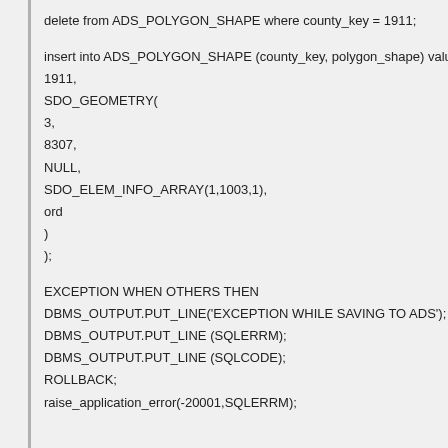delete from ADS_POLYGON_SHAPE where county_key = 1911;

insert into ADS_POLYGON_SHAPE (county_key, polygon_shape) value
1911,
SDO_GEOMETRY(
3,
8307,
NULL,
SDO_ELEM_INFO_ARRAY(1,1003,1),
ord
)
);

EXCEPTION WHEN OTHERS THEN
DBMS_OUTPUT.PUT_LINE('EXCEPTION WHILE SAVING TO ADS');
DBMS_OUTPUT.PUT_LINE (SQLERRM);
DBMS_OUTPUT.PUT_LINE (SQLCODE);
ROLLBACK;
raise_application_error(-20001,SQLERRM);